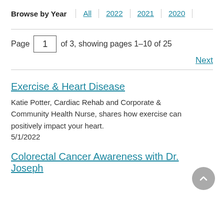Browse by Year
All
2022
2021
2020
Page 1 of 3, showing pages 1–10 of 25
Next
Exercise & Heart Disease
Katie Potter, Cardiac Rehab and Corporate & Community Health Nurse, shares how exercise can positively impact your heart.
5/1/2022
Colorectal Cancer Awareness with Dr. Joseph